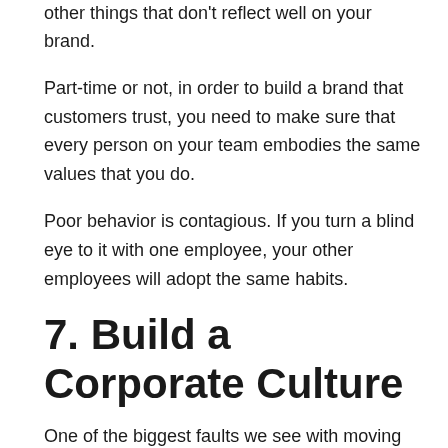other things that don't reflect well on your brand.
Part-time or not, in order to build a brand that customers trust, you need to make sure that every person on your team embodies the same values that you do.
Poor behavior is contagious. If you turn a blind eye to it with one employee, your other employees will adopt the same habits.
7. Build a Corporate Culture
One of the biggest faults we see with moving businesses today is that they don't build brands